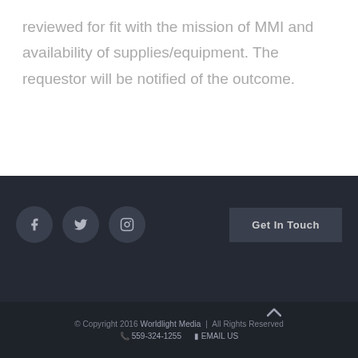reviewed for fit with the mission of MMI and availability of supplies/equipment. The requestor will be notified of the outcome.
[Figure (other): Website footer with social media icons (Facebook, Twitter, Instagram), a 'Get In Touch' button, copyright notice for Worldlight Media 2016, phone number 559-324-1255, and EMAIL US link]
© Copyright 2016 Worldlight Media | All Rights Reserved  559-324-1255  EMAIL US